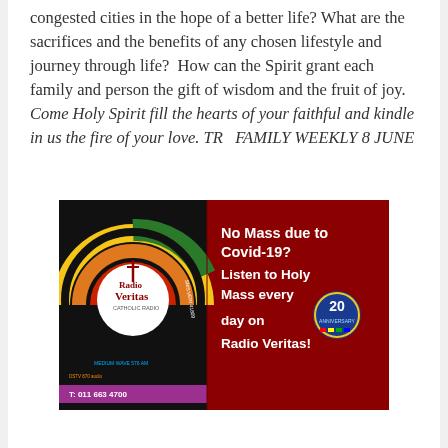congested cities in the hope of a better life? What are the sacrifices and the benefits of any chosen lifestyle and journey through life?  How can the Spirit grant each family and person the gift of wisdom and the fruit of joy.  Come Holy Spirit fill the hearts of your faithful and kindle in us the fire of your love. TR   FAMILY WEEKLY 8 JUNE
[Figure (other): Radio Veritas advertisement: dark red background with Radio Veritas logo on the left (colorful circular logo with cross) and text on the right reading 'No Mass due to Covid-19? Listen to Holy Mass every day on Radio Veritas!' with 20 anniversary badge. Contact info: T: 011 663 4700, MEDIUM WAVE 576 AM, SMS:VERI 41809, DSTV 870 audio]